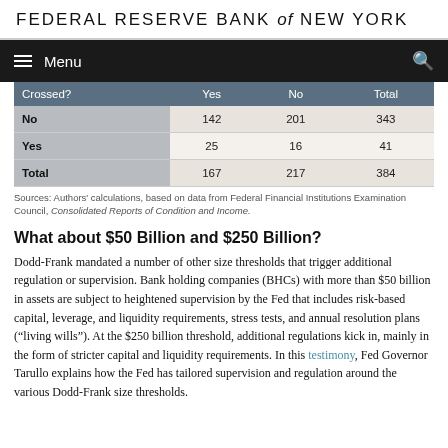FEDERAL RESERVE BANK of NEW YORK
| Crossed? | Yes | No | Total |
| --- | --- | --- | --- |
| No | 142 | 201 | 343 |
| Yes | 25 | 16 | 41 |
| Total | 167 | 217 | 384 |
Sources: Authors' calculations, based on data from Federal Financial Institutions Examination Council, Consolidated Reports of Condition and Income.
What about $50 Billion and $250 Billion?
Dodd-Frank mandated a number of other size thresholds that trigger additional regulation or supervision. Bank holding companies (BHCs) with more than $50 billion in assets are subject to heightened supervision by the Fed that includes risk-based capital, leverage, and liquidity requirements, stress tests, and annual resolution plans (“living wills”). At the $250 billion threshold, additional regulations kick in, mainly in the form of stricter capital and liquidity requirements. In this testimony, Fed Governor Tarullo explains how the Fed has tailored supervision and regulation around the various Dodd-Frank size thresholds.